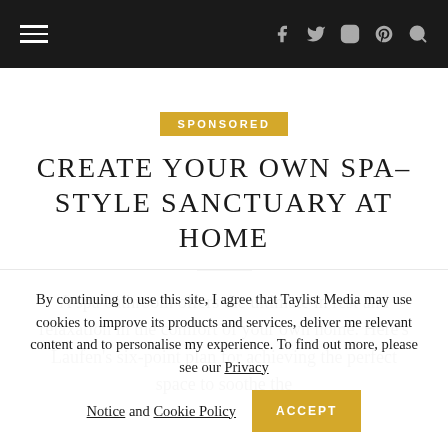Navigation bar with hamburger menu and social icons (f, Twitter, Instagram, Pinterest, Search)
SPONSORED
CREATE YOUR OWN SPA-STYLE SANCTUARY AT HOME
A spa bathroom offers the ultimate in rest and relaxation in the comfort of your own home. Here's Laufen's six-point plan for achieving the perfect space to soothe the
By continuing to use this site, I agree that Taylist Media may use cookies to improve its products and services, deliver me relevant content and to personalise my experience. To find out more, please see our Privacy Notice and Cookie Policy